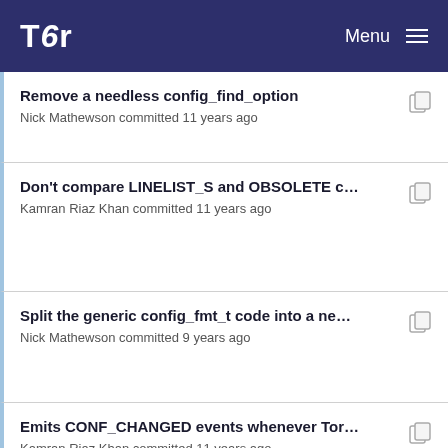Tor Menu
Remove a needless config_find_option
Nick Mathewson committed 11 years ago
Don't compare LINELIST_S and OBSOLETE confi...
Kamran Riaz Khan committed 11 years ago
Split the generic config_fmt_t code into a new con...
Nick Mathewson committed 9 years ago
Emits CONF_CHANGED events whenever Tor's co...
Kamran Riaz Khan committed 11 years ago
Fix another memory leak
Nick Mathewson committed 9 years ago
Refactor to do CONF_CHANGED event formatting ...